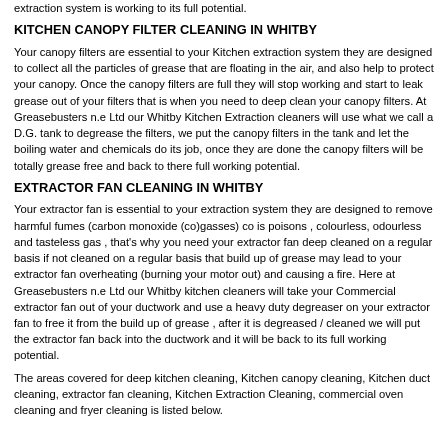extraction system is working to its full potential.
KITCHEN CANOPY FILTER CLEANING IN WHITBY
Your canopy filters are essential to your Kitchen extraction system they are designed to collect all the particles of grease that are floating in the air, and also help to protect your canopy. Once the canopy filters are full they will stop working and start to leak grease out of your filters that is when you need to deep clean your canopy filters. At Greasebusters n.e Ltd our Whitby Kitchen Extraction cleaners will use what we call a D.G. tank to degrease the filters, we put the canopy filters in the tank and let the boiling water and chemicals do its job, once they are done the canopy filters will be totally grease free and back to there full working potential.
EXTRACTOR FAN CLEANING IN WHITBY
Your extractor fan is essential to your extraction system they are designed to remove harmful fumes (carbon monoxide (co)gasses) co is poisons , colourless, odourless and tasteless gas , that's why you need your extractor fan deep cleaned on a regular basis if not cleaned on a regular basis that build up of grease may lead to your extractor fan overheating (burning your motor out) and causing a fire. Here at Greasebusters n.e Ltd our Whitby kitchen cleaners will take your Commercial  extractor fan out of your ductwork and use a heavy duty degreaser on your extractor fan to free it from the build up of grease , after it is degreased / cleaned we will put the extractor fan back into the ductwork and it will be back to its full working potential.
The areas covered for deep kitchen cleaning, Kitchen canopy cleaning, Kitchen duct cleaning, extractor fan cleaning, Kitchen Extraction Cleaning, commercial oven cleaning and fryer cleaning is listed below.